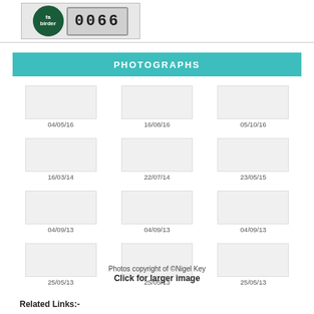[Figure (photo): Logo circle with 'fa birder' text and digital counter showing 0066]
PHOTOGRAPHS
04/05/16
16/08/16
05/10/16
16/03/14
22/07/14
23/05/15
04/09/13
04/09/13
04/09/13
25/05/13
25/05/13
25/05/13
Photos copyright of ©Nigel Key
Click for larger image
Related Links:-